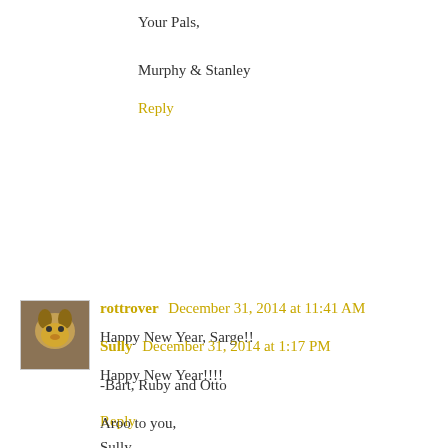Your Pals,

Murphy & Stanley
Reply
[Figure (photo): Avatar image for rottrover - appears to show a golden/brown dog or pet]
rottrover  December 31, 2014 at 11:41 AM
Happy New Year, Sarge!!

-Bart, Ruby and Otto
Reply
[Figure (photo): Avatar image for Sully - appears to show a cat]
Sully  December 31, 2014 at 1:17 PM
Happy New Year!!!!

Aroo to you,
Sully
Reply